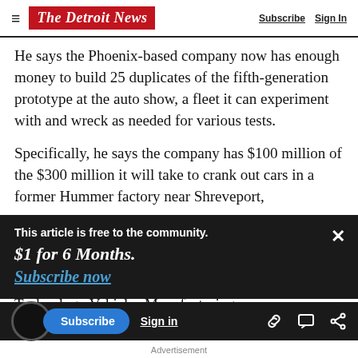The Detroit News — Subscribe | Sign In
He says the Phoenix-based company now has enough money to build 25 duplicates of the fifth-generation prototype at the auto show, a fleet it can experiment with and wreck as needed for various tests.
Specifically, he says the company has $100 million of the $300 million it will take to crank out cars in a former Hummer factory near Shreveport,
This article is free to the community.
$1 for 6 Months.
Subscribe now
Technology Vehicles Manufacturing
Subscribe | Sign in | Advertisement